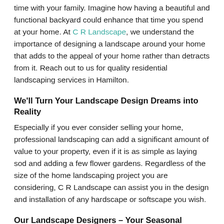time with your family. Imagine how having a beautiful and functional backyard could enhance that time you spend at your home. At C R Landscape, we understand the importance of designing a landscape around your home that adds to the appeal of your home rather than detracts from it. Reach out to us for quality residential landscaping services in Hamilton.
We'll Turn Your Landscape Design Dreams into Reality
Especially if you ever consider selling your home, professional landscaping can add a significant amount of value to your property, even if it is as simple as laying sod and adding a few flower gardens. Regardless of the size of the home landscaping project you are considering, C R Landscape can assist you in the design and installation of any hardscape or softscape you wish.
Our Landscape Designers – Your Seasonal Colour Program Gurus
At C R Landscape, we value creativity and quality over anything else. We can take a simple sketch of a landscape